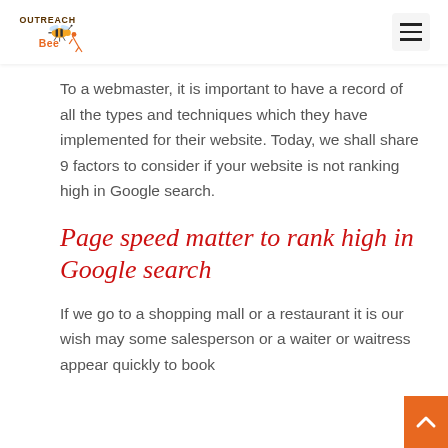Outreach Bee — navigation header with logo and hamburger menu
To a webmaster, it is important to have a record of all the types and techniques which they have implemented for their website. Today, we shall share 9 factors to consider if your website is not ranking high in Google search.
Page speed matter to rank high in Google search
If we go to a shopping mall or a restaurant it is our wish may some salesperson or a waiter or waitress appear quickly to book